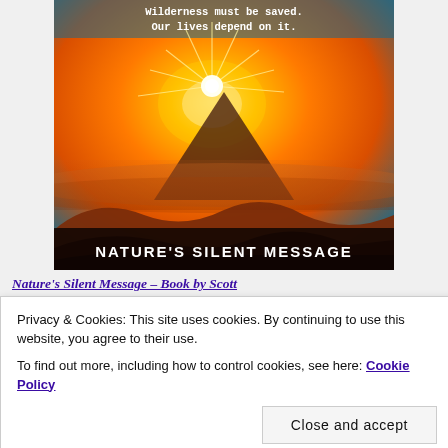[Figure (illustration): Book cover for 'Nature's Silent Message' showing a dramatic mountain sunset with orange sky, sun rays, layered misty hills, and white typewriter-font text at top reading 'Wilderness must be saved. Our lives depend on it.' and bold white text at bottom reading 'NATURE'S SILENT MESSAGE'.]
Nature's Silent Message – Book by Scott
Privacy & Cookies: This site uses cookies. By continuing to use this website, you agree to their use.
To find out more, including how to control cookies, see here: Cookie Policy
Close and accept